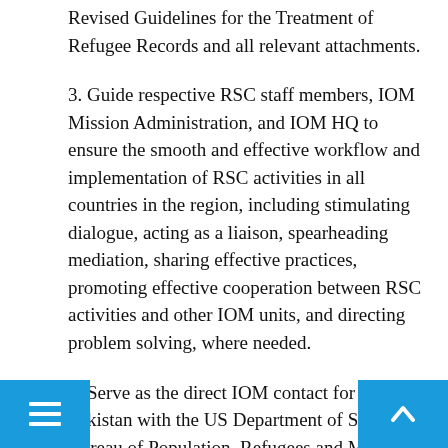Revised Guidelines for the Treatment of Refugee Records and all relevant attachments.
3. Guide respective RSC staff members, IOM Mission Administration, and IOM HQ to ensure the smooth and effective workflow and implementation of RSC activities in all countries in the region, including stimulating dialogue, acting as a liaison, spearheading mediation, sharing effective practices, promoting effective cooperation between RSC activities and other IOM units, and directing problem solving, where needed.
4. Serve as the direct IOM contact for RSC Pakistan with the US Department of State Bureau of Population, Refugees and Migration (PRM) Refugee Coordinators in the Pakistan region, the PRM Program Desk Officer in Washington, DC, and the United States Department of Homeland Security Citizenship and Immigration Services (USCIS) for all Pakistan locations.